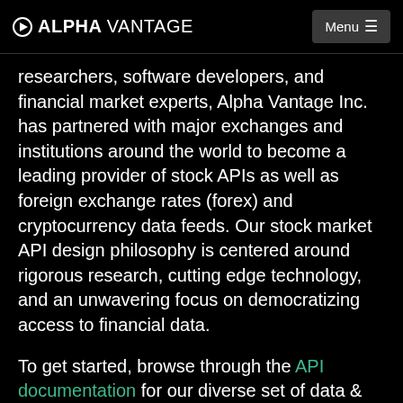ALPHA VANTAGE | Menu
researchers, software developers, and financial market experts, Alpha Vantage Inc. has partnered with major exchanges and institutions around the world to become a leading provider of stock APIs as well as foreign exchange rates (forex) and cryptocurrency data feeds. Our stock market API design philosophy is centered around rigorous research, cutting edge technology, and an unwavering focus on democratizing access to financial data.
To get started, browse through the API documentation for our diverse set of data & API endpoints. Whenever you feel ready, claim your free API key and start exploring!